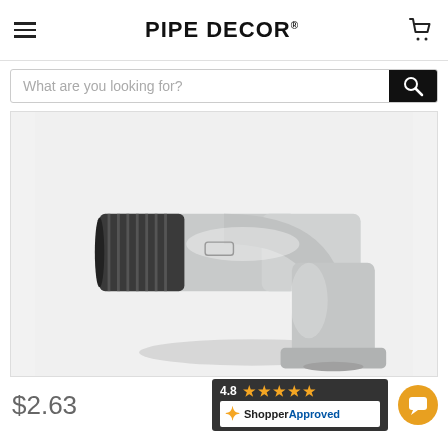PIPE DECOR
What are you looking for?
[Figure (photo): Galvanized steel pipe elbow fitting, 90-degree angle, with threaded male end on the left side (dark/black threads) and a female socket at the bottom. The body is silver metallic galvanized finish. Product has embossed markings on the body.]
$2.63
[Figure (other): Shopper Approved badge showing 4.8 star rating with 5 stars displayed]
[Figure (other): Chat button - orange circular button with speech bubble icon]